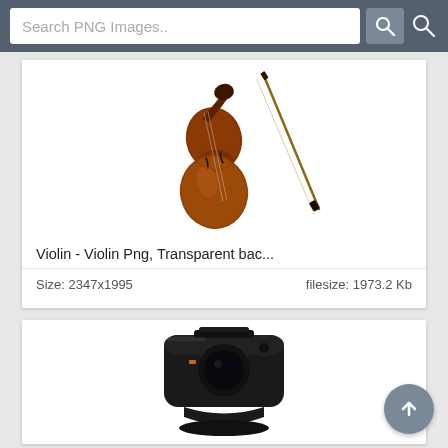[Figure (screenshot): Search bar with text input 'Search PNG Images..' and search button icons on dark blue-gray background]
[Figure (photo): A violin with bow on white background - product image thumbnail]
Violin - Violin Png, Transparent bac...
Size: 2347x1995    filesize: 1973.2 Kb
[Figure (photo): A Logitech webcam (black) on white background - product image thumbnail]